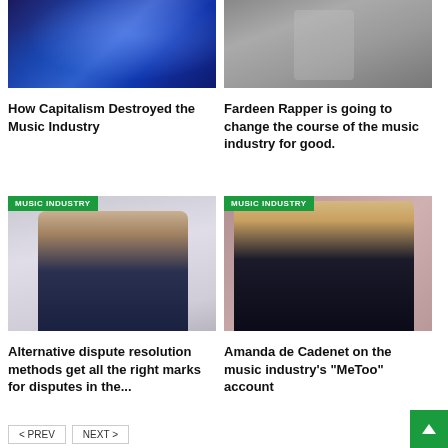[Figure (photo): Concert photo with blue stage lighting, performers on stage]
[Figure (photo): Young rapper in striped shirt with sunglasses outdoors]
How Capitalism Destroyed the Music Industry
Fardeen Rapper is going to change the course of the music industry for good.
[Figure (photo): Man in dark suit with tie, MUSIC INDUSTRY badge overlay]
[Figure (photo): Blonde woman in black top, MUSIC INDUSTRY badge overlay, mauve background]
Alternative dispute resolution methods get all the right marks for disputes in the...
Amanda de Cadenet on the music industry's "MeToo" account